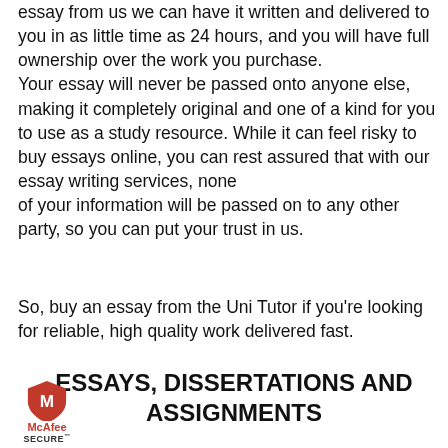essay from us we can have it written and delivered to you in as little time as 24 hours, and you will have full ownership over the work you purchase. Your essay will never be passed onto anyone else, making it completely original and one of a kind for you to use as a study resource. While it can feel risky to buy essays online, you can rest assured that with our essay writing services, none of your information will be passed on to any other party, so you can put your trust in us.
So, buy an essay from the Uni Tutor if you're looking for reliable, high quality work delivered fast.
ESSAYS, DISSERTATIONS AND ASSIGNMENTS
[Figure (logo): McAfee SECURE logo with shield icon]